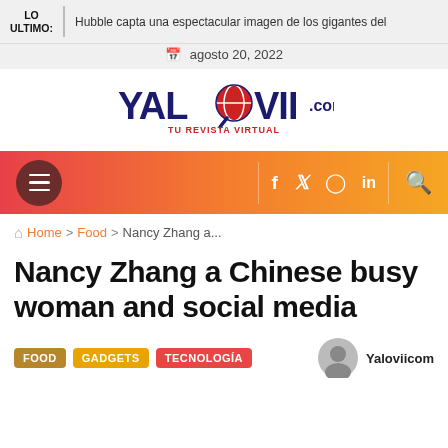LO ULTIMO: Hubble capta una espectacular imagen de los gigantes del
agosto 20, 2022
[Figure (logo): Yalovii.com Tu Revista Virtual logo with magnifying glass globe icon]
[Figure (infographic): Navigation bar with hamburger menu circle on left, social media icons (f, twitter, instagram, in, search) on right, gradient red to orange background]
Home › Food › Nancy Zhang a...
Nancy Zhang a Chinese busy woman and social media
FOOD   GADGETS   TECNOLOGÍA   Yaloviicom